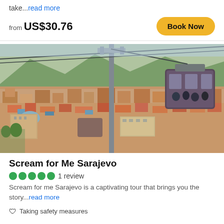take...read more
from US$30.76
Book Now
[Figure (photo): Aerial view of Sarajevo city with cable car gondola in the foreground, showing dense urban landscape with terracotta rooftops and mountains in background]
Scream for Me Sarajevo
1 review
Scream for me Sarajevo is a captivating tour that brings you the story...read more
Taking safety measures